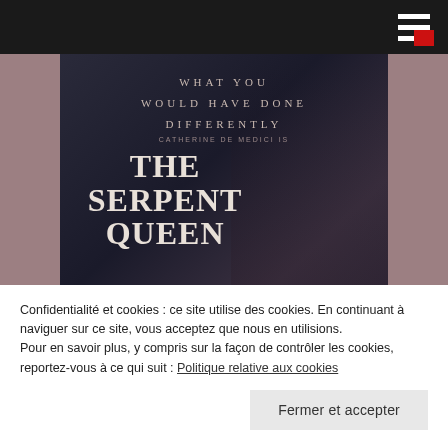[Figure (photo): Movie promotional poster for 'The Serpent Queen' on STARZ. Dark background with a woman in black period costume. Text reads: WHAT YOU WOULD HAVE DONE DIFFERENTLY, CATHERINE DE MEDICI IS, THE SERPENT QUEEN, STARZ]
30 août 2022  0
The Serpent Queen: la série
Confidentialité et cookies : ce site utilise des cookies. En continuant à naviguer sur ce site, vous acceptez que nous en utilisions.
Pour en savoir plus, y compris sur la façon de contrôler les cookies, reportez-vous à ce qui suit : Politique relative aux cookies
Fermer et accepter